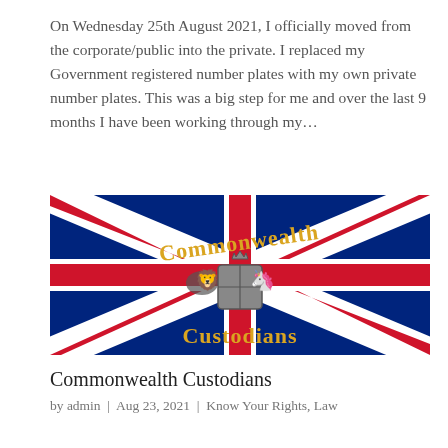On Wednesday 25th August 2021, I officially moved from the corporate/public into the private. I replaced my Government registered number plates with my own private number plates. This was a big step for me and over the last 9 months I have been working through my…
[Figure (illustration): Union Jack / Union Flag with 'Commonwealth Custodians' text in gold gothic font overlaid, and a Royal Coat of Arms crest in the centre]
Commonwealth Custodians
by admin  |  Aug 23, 2021  |  Know Your Rights, Law